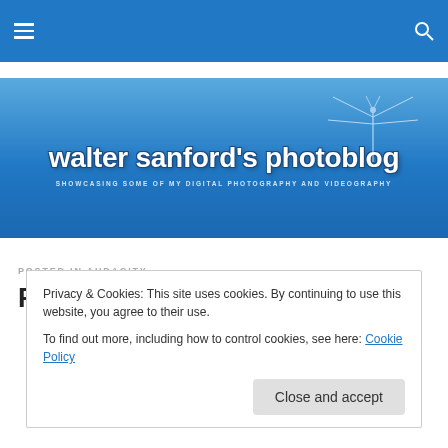walter sanford's photoblog — SHOWCASING SOME OF MY DIGITAL PHOTOGRAPHY AND VIDEOGRAPHY
POSTED IN AUDACITY
Periodical Cicadas Brood II
Privacy & Cookies: This site uses cookies. By continuing to use this website, you agree to their use.
To find out more, including how to control cookies, see here: Cookie Policy
Close and accept